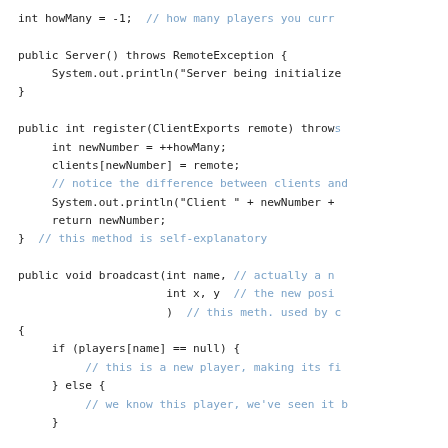int howMany = -1; // how many players you curr

public Server() throws RemoteException {
    System.out.println("Server being initialize
}

public int register(ClientExports remote) throws
    int newNumber = ++howMany;
    clients[newNumber] = remote;
    // notice the difference between clients and
    System.out.println("Client " + newNumber +
    return newNumber;
}  // this method is self-explanatory

public void broadcast(int name, // actually a n
                      int x, y  // the new posi
                      )  // this meth. used by c
{
    if (players[name] == null) {
        // this is a new player, making its fi
    } else {
        // we know this player, we've seen it
    }

    // so players will need to be created with
    // of a client - while clients get created w

}
}